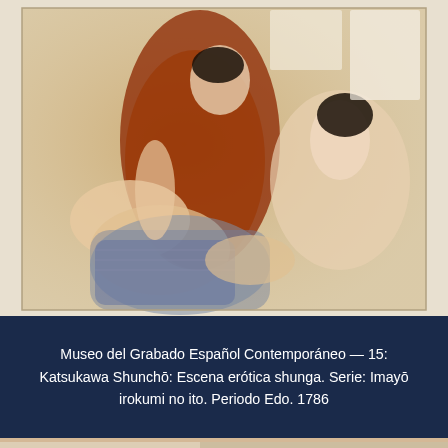[Figure (photo): Japanese shunga woodblock print showing an erotic scene from the Edo period, featuring two figures in traditional Japanese clothing with Japanese text cartouches visible]
Museo del Grabado Español Contemporáneo — 15: Katsukawa Shunchō: Escena erótica shunga. Serie: Imayō irokumi no ito. Periodo Edo. 1786
[Figure (photo): Close-up detail of a Japanese shunga woodblock print showing partial figures and Japanese calligraphic text on the right side]